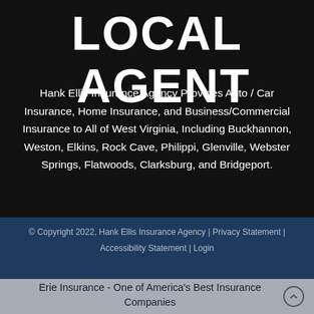LOCAL AGENT
Hank Ellis Insurance Agency Provides Auto / Car Insurance, Home Insurance, and Business/Commercial Insurance to All of West Virginia, Including Buckhannon, Weston, Elkins, Rock Cave, Philippi, Glenville, Webster Springs, Flatwoods, Clarksburg, and Bridgeport.
© Copyright 2022, Hank Ellis Insurance Agency | Privacy Statement | Accessibility Statement | Login
Erie Insurance - One of America's Best Insurance Companies